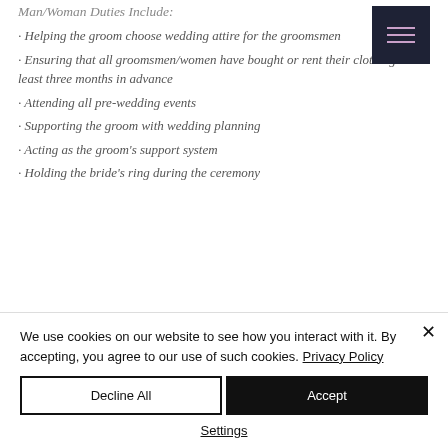Man/Woman Duties Include:
Helping the groom choose wedding attire for the groomsmen
Ensuring that all groomsmen/women have bought or rent their clothing at least three months in advance
Attending all pre-wedding events
Supporting the groom with wedding planning
Acting as the groom's support system
Holding the bride's ring during the ceremony
We use cookies on our website to see how you interact with it. By accepting, you agree to our use of such cookies. Privacy Policy
Decline All | Accept | Settings